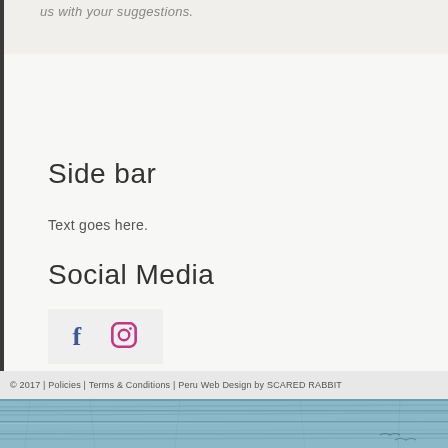us with your suggestions.
Side bar
Text goes here.
Social Media
[Figure (illustration): Social media icons: Facebook (f) and Instagram (camera icon) on a light grey background box]
© 2017 | Policies | Terms & Conditions | Peru Web Design by SCARED RABBIT
[Figure (photo): Photo of weathered blue painted wooden planks/boards]